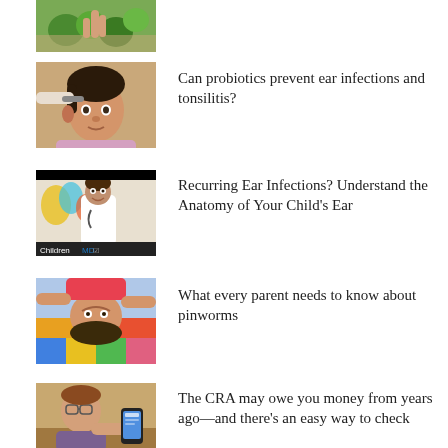[Figure (photo): Partial thumbnail showing produce/vegetables at top of page]
[Figure (photo): Child having ears examined by a doctor]
Can probiotics prevent ear infections and tonsilitis?
[Figure (photo): Video thumbnail showing a doctor in a clinical setting with ChildrensMD logo]
Recurring Ear Infections? Understand the Anatomy of Your Child's Ear
[Figure (photo): Child lying upside down on colorful bedding]
What every parent needs to know about pinworms
[Figure (photo): Person looking at a smartphone]
The CRA may owe you money from years ago—and there's an easy way to check